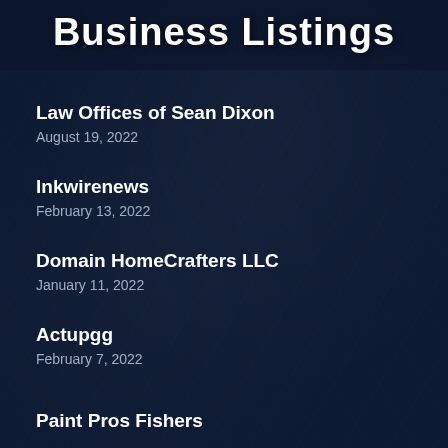Business Listings
Law Offices of Sean Dixon
August 19, 2022
Inkwirenews
February 13, 2022
Domain HomeCrafters LLC
January 11, 2022
Actupgg
February 7, 2022
Paint Pros Fishers